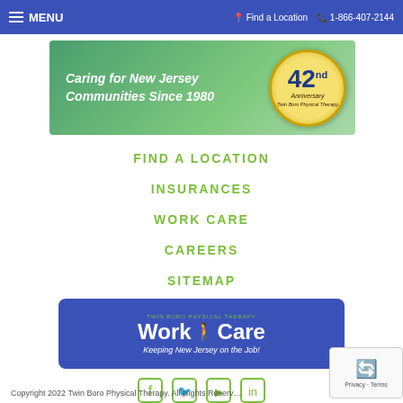MENU  Find a Location  1-866-407-2144
[Figure (logo): Twin Boro Physical Therapy banner: 'Caring for New Jersey Communities Since 1980' with 42nd Anniversary gold badge]
FIND A LOCATION
INSURANCES
WORK CARE
CAREERS
SITEMAP
[Figure (logo): Social media icons: Facebook, Twitter, YouTube, LinkedIn - all in green outlined squares]
[Figure (logo): WorkCare banner - Twin Boro Physical Therapy WorkCare logo on blue background with tagline 'Keeping New Jersey on the Job!']
Copyright 2022 Twin Boro Physical Therapy. All Rights Reserved.